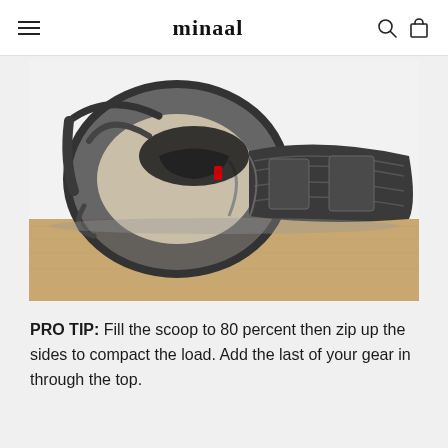minaal
[Figure (photo): A dark gray/black backpack lying flat on a wooden surface, fully opened and splayed out flat showing its internal compartment and load lifter straps forming a circular shape. The bag is open wide with various pockets and sections visible.]
PRO TIP: Fill the scoop to 80 percent then zip up the sides to compact the load. Add the last of your gear in through the top.